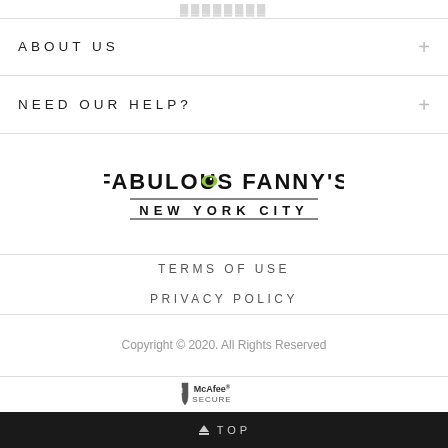ABOUT US
NEED OUR HELP?
[Figure (logo): Fabulous Fanny's New York City logo with a green eye in the O]
TERMS OF USE
PRIVACY POLICY
Copyright © 2020. All Rights Reserved
[Figure (logo): McAfee SECURE badge/logo]
TOP